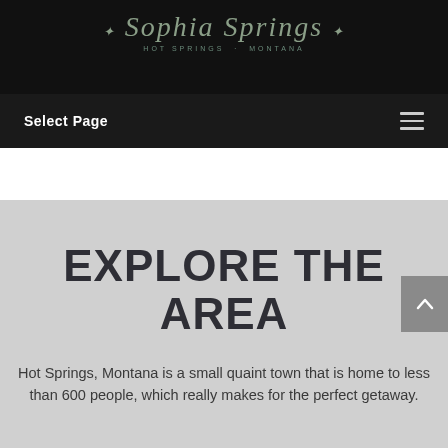Sophia Springs — Hot Springs, Montana
Select Page
EXPLORE THE AREA
Hot Springs, Montana is a small quaint town that is home to less than 600 people, which really makes for the perfect getaway.